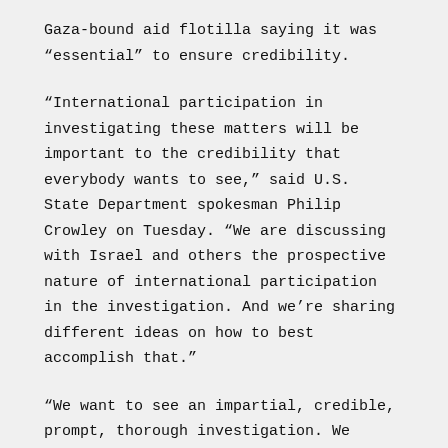Gaza-bound aid flotilla saying it was “essential” to ensure credibility.
“International participation in investigating these matters will be important to the credibility that everybody wants to see,” said U.S. State Department spokesman Philip Crowley on Tuesday. “We are discussing with Israel and others the prospective nature of international participation in the investigation. And we’re sharing different ideas on how to best accomplish that.”
“We want to see an impartial, credible, prompt, thorough investigation. We recognize that international participation, which lends itself to countries and entities being able to vouch for the results of the investigation –